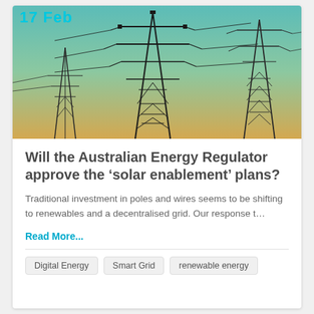[Figure (photo): Electricity transmission towers/pylons against a teal and warm gradient sky background. Date badge '17 Feb' visible in cyan text at top left.]
Will the Australian Energy Regulator approve the ‘solar enablement’ plans?
Traditional investment in poles and wires seems to be shifting to renewables and a decentralised grid. Our response t…
Read More...
Digital Energy
Smart Grid
renewable energy